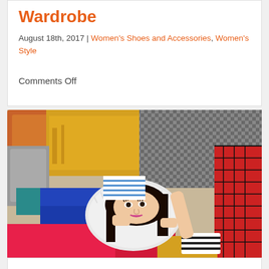Wardrobe
August 18th, 2017 | Women's Shoes and Accessories, Women's Style
Comments Off
[Figure (photo): A young woman lying on a pile of colorful clothing, bags and accessories, looking up at the camera. She wears a white furry vest. Various garments including yellow jacket, red plaid shirt, blue top, pink/red items, and striped shoes are visible around her.]